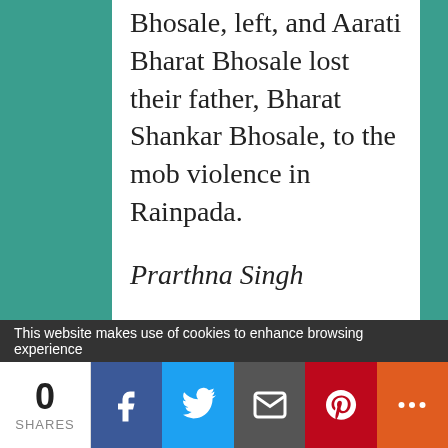Bhosale, left, and Aarati Bharat Bhosale lost their father, Bharat Shankar Bhosale, to the mob violence in Rainpada.
Prarthna Singh
“Put yourself in Chris’ shoes,” he says, referring to Daniels. “Can you say you have a
This website makes use of cookies to enhance browsing experience
0 SHARES